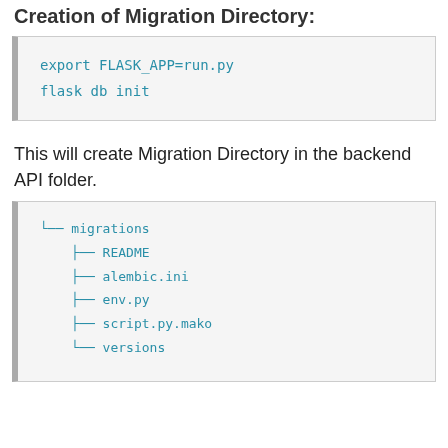Creation of Migration Directory:
[Figure (screenshot): Code block showing: export FLASK_APP=run.py / flask db init]
This will create Migration Directory in the backend API folder.
[Figure (screenshot): Directory tree showing migrations folder containing README, alembic.ini, env.py, script.py.mako, versions]